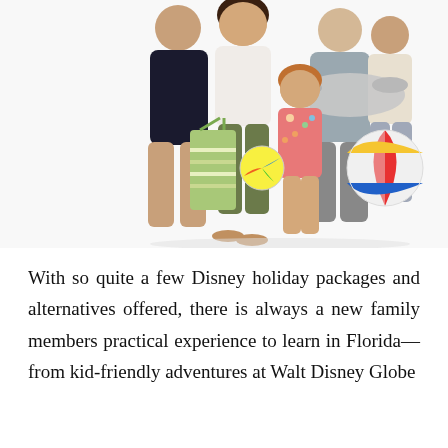[Figure (photo): A family group of 5 people (two adults, elderly man, young boy, and a young girl) standing together in vacation/beach attire, carrying beach items including a striped green tote bag, an inflatable silver airplane toy, and a colorful beach ball. White background.]
With so quite a few Disney holiday packages and alternatives offered, there is always a new family members practical experience to learn in Florida—from kid-friendly adventures at Walt Disney Globe